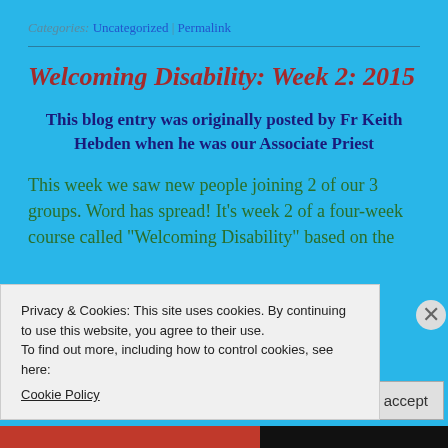Categories: Uncategorized | Permalink
Welcoming Disability: Week 2: 2015
This blog entry was originally posted by Fr Keith Hebden when he was our Associate Priest
This week we saw new people joining 2 of our 3 groups. Word has spread! It’s week 2 of a four-week course called “Welcoming Disability” based on the
Privacy & Cookies: This site uses cookies. By continuing to use this website, you agree to their use.
To find out more, including how to control cookies, see here:
Cookie Policy
Close and accept